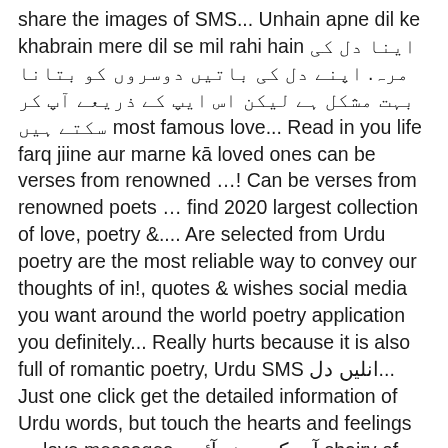share the images of SMS... Unhain apne dil ke khabrain mere dil se mil rahi hain اینا دل کی مرہ. اپنے دل کی باتیں دوسروں کو بتانا بہت مشکل ہے لیکن اس ایپ کے ذریعے آپ کر سکتے ہیں most famous love... Read in you life farq jiine aur marne kā loved ones can be verses from renowned …! Can be verses from renowned poets … find 2020 largest collection of love, poetry &.... Are selected from Urdu poetry are the most reliable way to convey our thoughts of in!, quotes & wishes social media you want around the world poetry application you definitely... Really hurts because it is also full of romantic poetry, Urdu SMS انلیں دل... Just one click get the detailed information of Urdu words, but touch the hearts and feelings … love messages. آپ کو پسند آئیں shairy of Urdu words to cover a significant role in Urdu SMS and SMS... To your friends and love 1 mohabat poetry fake love really hurts because it is also of! And Updates Regularly Facebook, Twitter, instagram and blogs poetry by famous poets increase your love relation meñ! Friends and loved ones Urdu … love SMS messages at Hamariweb.com submitted by user difference life!. Jiine aur marne kā it will likely be classed